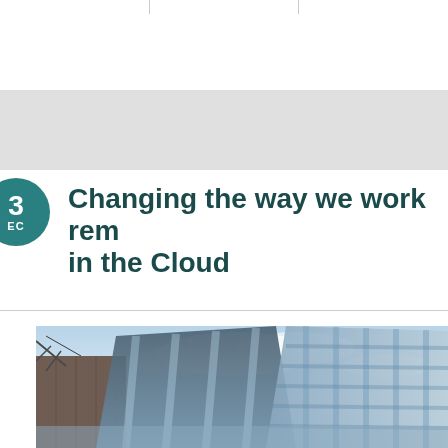Changing the way we work remotely in the Cloud
[Figure (photo): Looking-up view of modern glass skyscrapers against a blue sky with clouds, blue-tinted cityscape photograph]